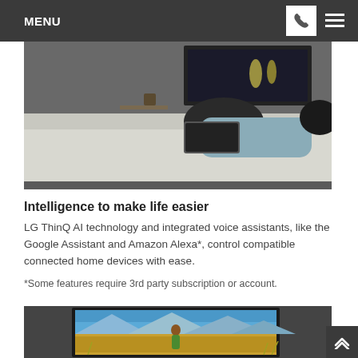MENU
[Figure (photo): Person lying on a couch with a laptop, seen from behind in a living room setting]
Intelligence to make life easier
LG ThinQ AI technology and integrated voice assistants, like the Google Assistant and Amazon Alexa*, control compatible connected home devices with ease.
*Some features require 3rd party subscription or account.
[Figure (photo): A woman in a green dress standing in a golden field facing mountains, displayed on a large TV screen]